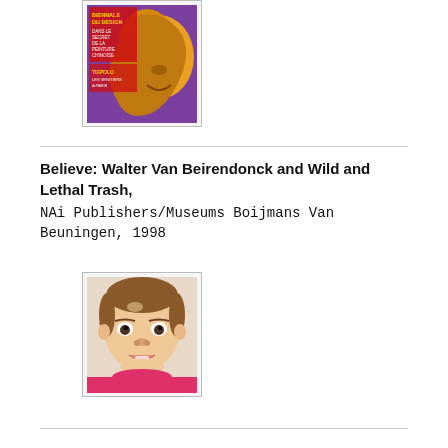[Figure (illustration): Book cover with colorful abstract/artistic imagery in orange and purple tones, with text in red and yellow (Biennale du design, dans le secret de la peinture chinoise, Tiepolo, les Vénitiens à Paris)]
Believe: Walter Van Beirendonck and Wild and Lethal Trash, NAi Publishers/Museums Boijmans Van Beuningen, 1998
[Figure (photo): Portrait photo of a young toddler with short brown hair, looking directly at camera, wearing a bright pink top, with a neutral background]